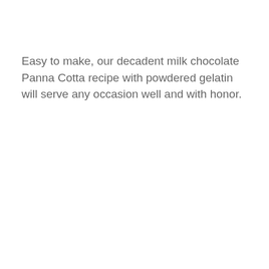Easy to make, our decadent milk chocolate Panna Cotta recipe with powdered gelatin will serve any occasion well and with honor.